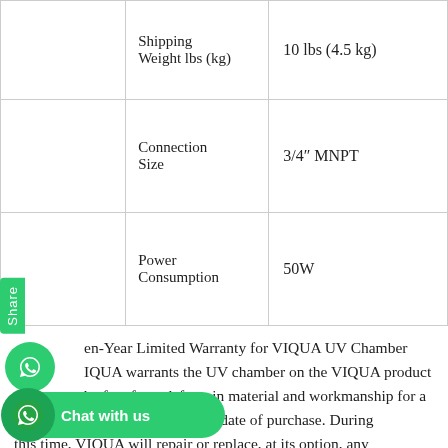|  | Shipping Weight lbs (kg) | 10 lbs (4.5 kg) |
|  | Connection Size | 3/4" MNPT |
|  | Power Consumption | 50W |
Ten-Year Limited Warranty for VIQUA UV Chamber VIQUA warrants the UV chamber on the VIQUA product be free from defects in material and workmanship for a period of ten (10) years from the date of purchase. During this time, VIQUA will repair or replace, at its option, any defective VIQUA UV chamber. Please return the defective p... your... ll process your claim. Three-Year L... Wa... rical and Hardware Components VIQUA warrants the electrical (controller)